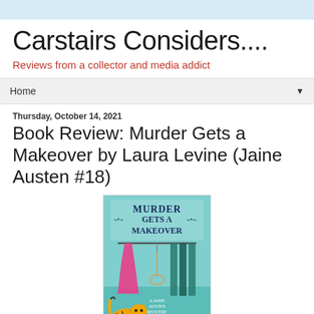Carstairs Considers....
Reviews from a collector and media addict
Home
Thursday, October 14, 2021
Book Review: Murder Gets a Makeover by Laura Levine (Jaine Austen #18)
[Figure (photo): Book cover of 'Murder Gets a Makeover' by Laura Levine, showing a noose hanging among clothes on a rack, a pink dress, and a cartoon tiger, with teal background and author name at bottom.]
Story: 4 out of 5...